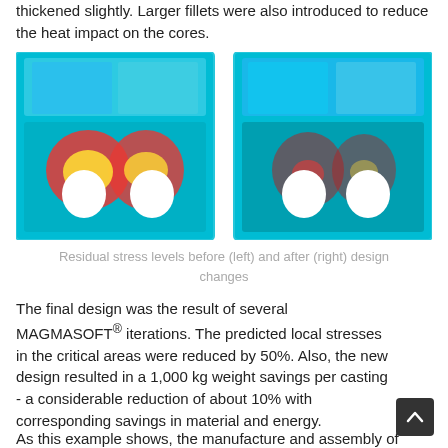thickened slightly. Larger fillets were also introduced to reduce the heat impact on the cores.
[Figure (engineering-diagram): Two side-by-side thermal/residual stress simulation images of a casting component shown in false-color (cyan, blue, red, yellow, white), showing stress distributions before (left) and after (right) design changes.]
Residual stress levels before (left) and after (right) design changes
The final design was the result of several MAGMASOFT® iterations. The predicted local stresses in the critical areas were reduced by 50%. Also, the new design resulted in a 1,000 kg weight savings per casting - a considerable reduction of about 10% with corresponding savings in material and energy.
As this example shows, the manufacture and assembly of